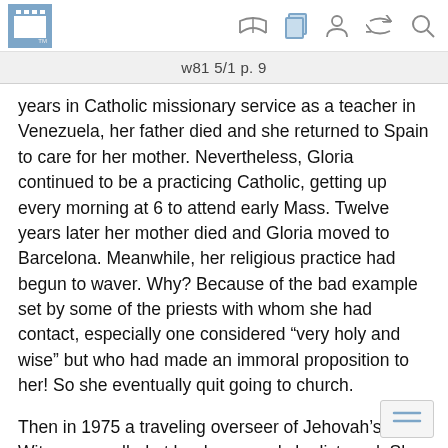w81 5/1 p. 9
years in Catholic missionary service as a teacher in Venezuela, her father died and she returned to Spain to care for her mother. Nevertheless, Gloria continued to be a practicing Catholic, getting up every morning at 6 to attend early Mass. Twelve years later her mother died and Gloria moved to Barcelona. Meanwhile, her religious practice had begun to waver. Why? Because of the bad example set by some of the priests with whom she had contact, especially one considered “very holy and wise” but who had made an immoral proposition to her! So she eventually quit going to church.
Then in 1975 a traveling overseer of Jehovah’s Witnesses called at her home and she listened. She explains: